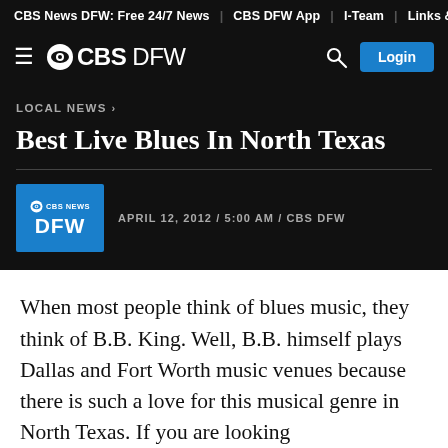CBS News DFW: Free 24/7 News | CBS DFW App | I-Team | Links & N...
≡ ©CBS DFW  🔍 Login
LOCAL NEWS ›
Best Live Blues In North Texas
APRIL 12, 2012 / 5:00 AM / CBS DFW
When most people think of blues music, they think of B.B. King. Well, B.B. himself plays Dallas and Fort Worth music venues because there is such a love for this musical genre in North Texas. If you are looking